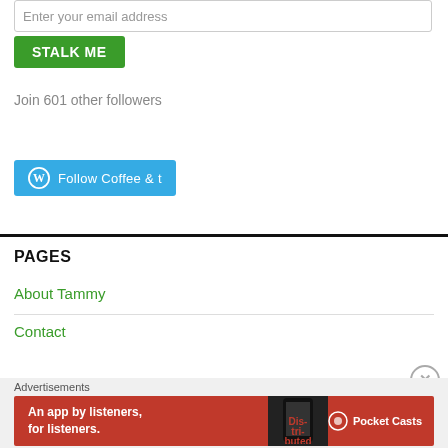Enter your email address
STALK ME
Join 601 other followers
[Figure (other): Follow Coffee & t button with WordPress logo on teal/blue background]
PAGES
About Tammy
Contact
Advertisements
[Figure (other): Pocket Casts advertisement banner: red background with phone image and text 'An app by listeners, for listeners.' and Pocket Casts logo]